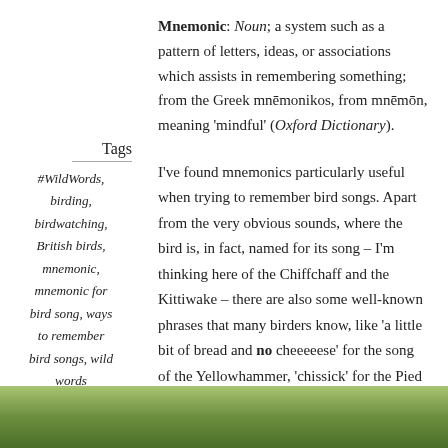Mnemonic: Noun; a system such as a pattern of letters, ideas, or associations which assists in remembering something; from the Greek mnēmonikos, from mnēmōn, meaning 'mindful' (Oxford Dictionary).
Tags
#WildWords, birding, birdwatching, British birds, mnemonic, mnemonic for bird song, ways to remember bird songs, wild words
I've found mnemonics particularly useful when trying to remember bird songs. Apart from the very obvious sounds, where the bird is, in fact, named for its song – I'm thinking here of the Chiffchaff and the Kittiwake – there are also some well-known phrases that many birders know, like 'a little bit of bread and no cheeeeese' for the song of the Yellowhammer, 'chissick' for the Pied wagtail, and 'teacher, teacher' for the Great tit. Do you have any bird song mnemonics you can share?
[Figure (photo): A photograph strip at the bottom showing green foliage/trees]